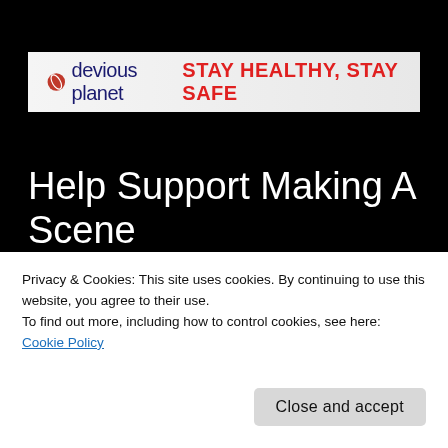devious planet STAY HEALTHY, STAY SAFE
Help Support Making A Scene
[Figure (other): Yellow PayPal Donate button with rounded corners]
[Figure (other): Payment method icons strip (PayPal, credit cards)]
Privacy & Cookies: This site uses cookies. By continuing to use this website, you agree to their use.
To find out more, including how to control cookies, see here: Cookie Policy
Close and accept